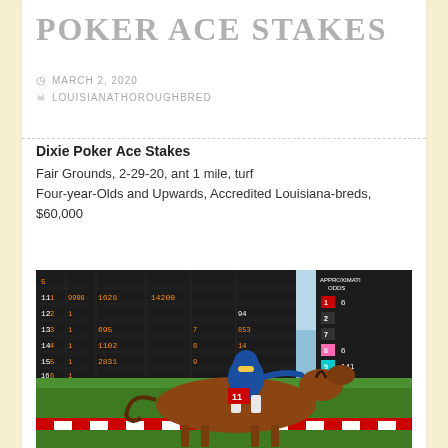POKER ACE STAKES
MARCH 2, 2020
LOUISIANATHOROUGHBRED
Dixie Poker Ace Stakes
Fair Grounds, 2-29-20, ant 1 mile, turf
Four-year-Olds and Upwards, Accredited Louisiana-breds, $60,000
[Figure (photo): Horse racing photo showing a jockey in blue silks on a chestnut horse racing past the finish line at Fair Grounds, with the tote board visible in the background showing race numbers and approximate odds.]